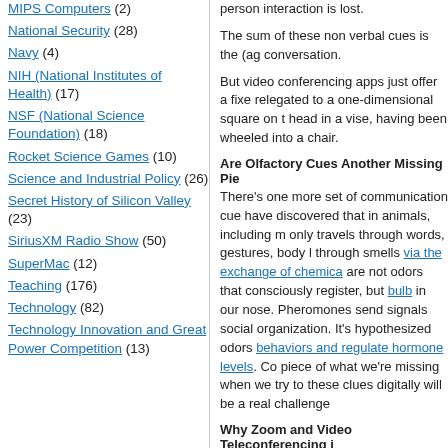MIPS Computers (2)
National Security (28)
Navy (4)
NIH (National Institutes of Health) (17)
NSF (National Science Foundation) (18)
Rocket Science Games (10)
Science and Industrial Policy (26)
Secret History of Silicon Valley (23)
SiriusXM Radio Show (50)
SuperMac (12)
Teaching (176)
Technology (82)
Technology Innovation and Great Power Competition (13)
The sum of these non verbal cues is the (ag conversation.
But video conferencing apps just offer a fixe relegated to a one-dimensional square on t head in a vise, having been wheeled into a chair.
Are Olfactory Cues Another Missing Pie
There's one more set of communication cue have discovered that in animals, including m only travels through words, gestures, body l through smells via the exchange of chemica are not odors that consciously register, but bulb in our nose. Pheromones send signals social organization. It's hypothesized odors behaviors and regulate hormone levels. Co piece of what we're missing when we try to these clues digitally will be a real challenge
Why Zoom and Video Teleconferencing i
If you've spent any extended period using v the pandemic, you've likely found it exhaust may realize it's affecting your learning by re information.